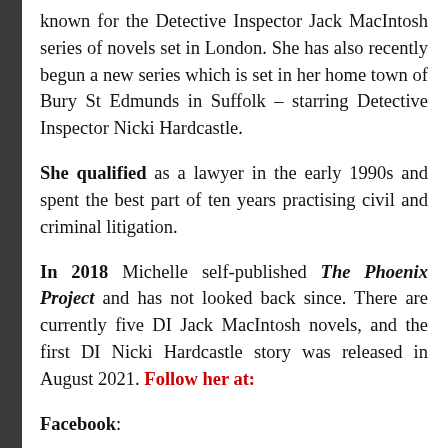known for the Detective Inspector Jack MacIntosh series of novels set in London. She has also recently begun a new series which is set in her home town of Bury St Edmunds in Suffolk – starring Detective Inspector Nicki Hardcastle.
She qualified as a lawyer in the early 1990s and spent the best part of ten years practising civil and criminal litigation.
In 2018 Michelle self-published The Phoenix Project and has not looked back since. There are currently five DI Jack MacIntosh novels, and the first DI Nicki Hardcastle story was released in August 2021. Follow her at:
Facebook: